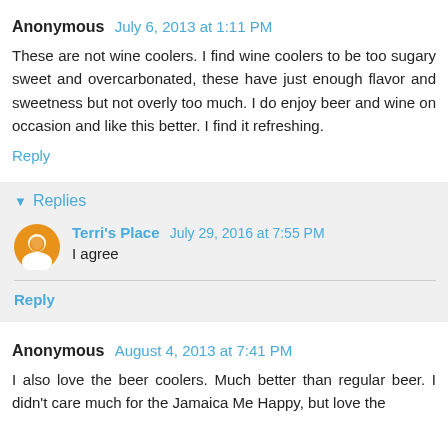Anonymous July 6, 2013 at 1:11 PM
These are not wine coolers. I find wine coolers to be too sugary sweet and overcarbonated, these have just enough flavor and sweetness but not overly too much. I do enjoy beer and wine on occasion and like this better. I find it refreshing.
Reply
Replies
Terri's Place July 29, 2016 at 7:55 PM
I agree
Reply
Anonymous August 4, 2013 at 7:41 PM
I also love the beer coolers. Much better than regular beer. I didn't care much for the Jamaica Me Happy, but love the